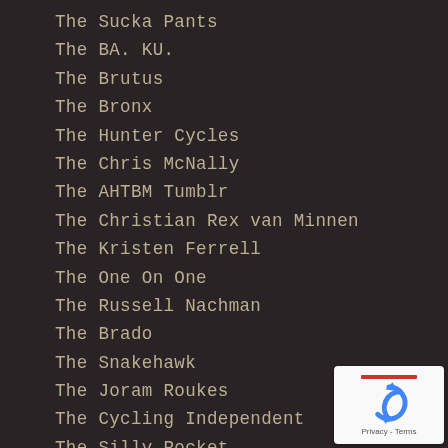The Sucka Pants
The BA. KU.
The Brutus
The Bronx
The Hunter Cycles
The Chris McNally
The AHTBM Tumblr
The Christian Rex van Minnen
The Kristen Ferrell
The One On One
The Russell Nachman
The Brado
The Snakehawk
The Joram Roukes
The Cycling Independent
The Silly Rocket
The Vice TV
[Figure (logo): reCAPTCHA badge with blue recycling-style arrow icon and Privacy - Terms footer text]